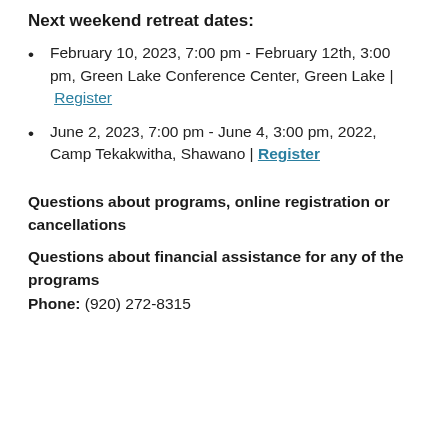Next weekend retreat dates:
February 10, 2023, 7:00 pm - February 12th, 3:00 pm, Green Lake Conference Center, Green Lake | Register
June 2, 2023, 7:00 pm - June 4, 3:00 pm, 2022, Camp Tekakwitha, Shawano | Register
Questions about programs, online registration or cancellations
Questions about financial assistance for any of the programs
Phone: (920) 272-8315